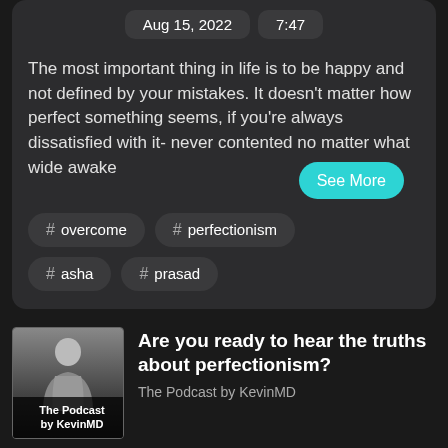Aug 15, 2022   7:47
The most important thing in life is to be happy and not defined by your mistakes. It doesn't matter how perfect something seems, if you're always dissatisfied with it- never contented no matter what wide awake
See More
# overcome
# perfectionism
# asha
# prasad
Are you ready to hear the truths about perfectionism?
The Podcast by KevinMD
[Figure (photo): Black and white photo of a man in a suit on stage, with 'The Podcast by KevinMD' label at the bottom]